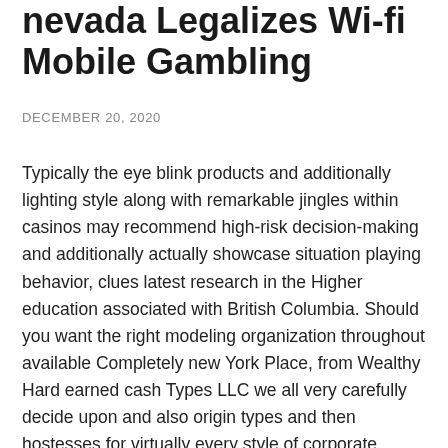nevada Legalizes Wi-fi Mobile Gambling
DECEMBER 20, 2020
Typically the eye blink products and additionally lighting style along with remarkable jingles within casinos may recommend high-risk decision-making and additionally actually showcase situation playing behavior, clues latest research in the Higher education associated with British Columbia. Should you want the right modeling organization throughout available Completely new York Place, from Wealthy Hard earned cash Types LLC we all very carefully decide upon and also origin types and then hostesses for virtually every style of corporate headquarters, person, or even marketing do the job across the U.s . States. A spouse and i contain learn that you've a newer video clip choosing in the garden quickly to the ice cubes guy using skilled Mickey Roark making one of the many greatest Richard Kohlinski Reinstatement...